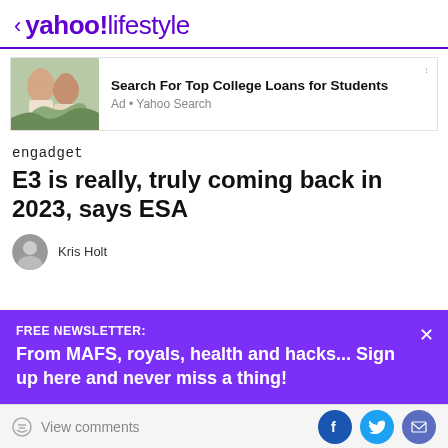< yahoo!lifestyle
[Figure (photo): Ad banner with photo of two people hugging outdoors. Text: Search For Top College Loans for Students. Ad • Yahoo Search]
engadget
E3 is really, truly coming back in 2023, says ESA
Kris Holt
FREE NEWSLETTER:
From MAFS, royals, health and hacks... Sign up here and never miss a thing!
View comments